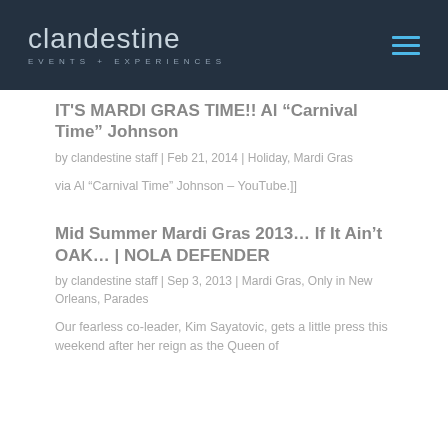clandestine EVENTS + EXPERIENCES
IT'S MARDI GRAS TIME!! Al “Carnival Time” Johnson
by clandestine staff | Feb 21, 2014 | Holiday, Mardi Gras
via Al “Carnival Time” Johnson – YouTube.]]
Mid Summer Mardi Gras 2013… If It Ain’t OAK… | NOLA DEFENDER
by clandestine staff | Sep 3, 2013 | Mardi Gras, Only in New Orleans, Parades
Our fearless co-leader, Kim Sayatovic, gets a little press this weekend after her reign as the Queen of